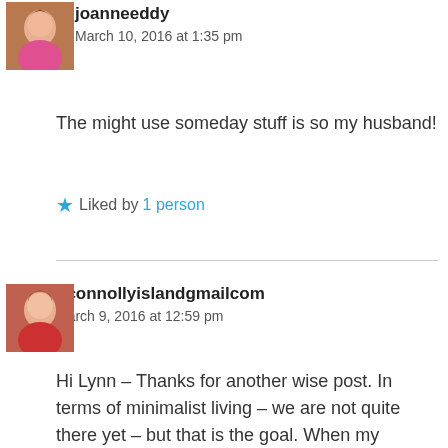[Figure (photo): Avatar photo of joanneeddy, woman in pink top]
joanneeddy
March 10, 2016 at 1:35 pm
The might use someday stuff is so my husband!
Liked by 1 person
[Figure (photo): Avatar photo of dconnollyislandgmailcom, woman in red top]
dconnollyislandgmailcom
March 9, 2016 at 12:59 pm
Hi Lynn – Thanks for another wise post. In terms of minimalist living – we are not quite there yet – but that is the goal. When my mother-in-law died, apart from necessity items that she used daily, she left behind a small metal box. Inside the box were very small keepsakes that she had kept for each of her children (from when they were babies). For